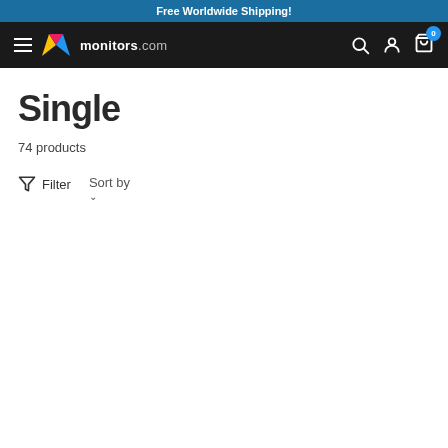Free Worldwide Shipping!
[Figure (logo): monitors.com logo with colorful M icon on dark navigation bar with hamburger menu, search, account, and cart icons]
Single
74 products
Filter  Sort by